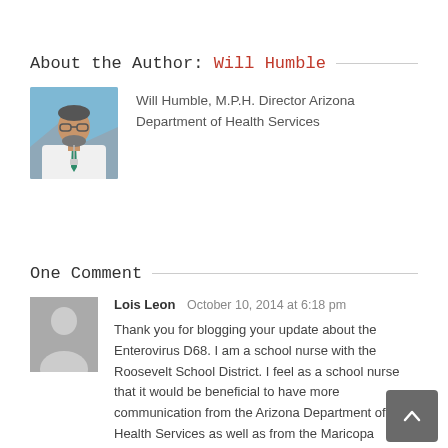About the Author: Will Humble
[Figure (photo): Photo of Will Humble, a man with glasses and a beard wearing a white coat with a teal/green tie, outdoors with mountains in background]
Will Humble, M.P.H. Director Arizona Department of Health Services
One Comment
[Figure (photo): Generic gray placeholder avatar silhouette for commenter Lois Leon]
Lois Leon   October 10, 2014 at 6:18 pm
Thank you for blogging your update about the Enterovirus D68. I am a school nurse with the Roosevelt School District. I feel as a school nurse that it would be beneficial to have more communication from the Arizona Department of Health Services as well as from the Maricopa County Health Department in the form of a letter for our parents. I found this beneficial during the H1N1 outbreak. It provided more official, trusted information for